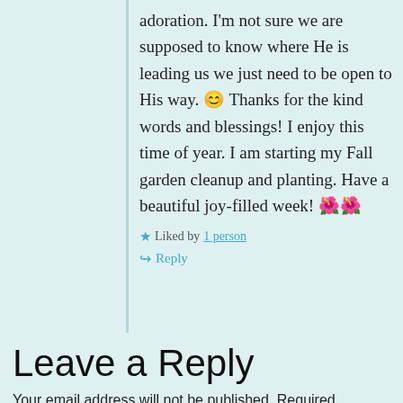adoration. I'm not sure we are supposed to know where He is leading us we just need to be open to His way. 😊 Thanks for the kind words and blessings! I enjoy this time of year. I am starting my Fall garden cleanup and planting. Have a beautiful joy-filled week! 🌺🌺
★ Liked by 1 person
↪ Reply
Leave a Reply
Your email address will not be published. Required